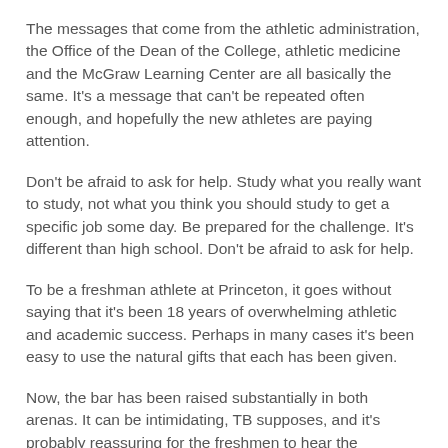The messages that come from the athletic administration, the Office of the Dean of the College, athletic medicine and the McGraw Learning Center are all basically the same. It's a message that can't be repeated often enough, and hopefully the new athletes are paying attention.
Don't be afraid to ask for help. Study what you really want to study, not what you think you should study to get a specific job some day. Be prepared for the challenge. It's different than high school. Don't be afraid to ask for help.
To be a freshman athlete at Princeton, it goes without saying that it's been 18 years of overwhelming athletic and academic success. Perhaps in many cases it's been easy to use the natural gifts that each has been given.
Now, the bar has been raised substantially in both arenas. It can be intimidating, TB supposes, and it's probably reassuring for the freshmen to hear the messages and realize that they are not in it alone.